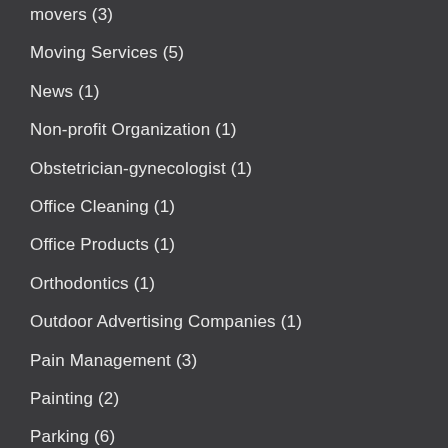movers (3)
Moving Services (5)
News (1)
Non-profit Organization (1)
Obstetrician-gynecologist (1)
Office Cleaning (1)
Office Products (1)
Orthodontics (1)
Outdoor Advertising Companies (1)
Pain Management (3)
Painting (2)
Parking (6)
Party Planner (2)
Party Supplies (1)
Paving Contractor (3)